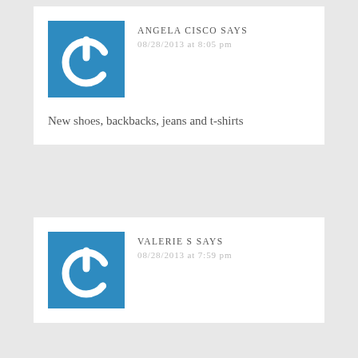[Figure (illustration): Blue square avatar with white power button icon]
ANGELA CISCO SAYS
08/28/2013 at 8:05 pm
New shoes, backbacks, jeans and t-shirts
[Figure (illustration): Blue square avatar with white power button icon]
VALERIE S SAYS
08/28/2013 at 7:59 pm